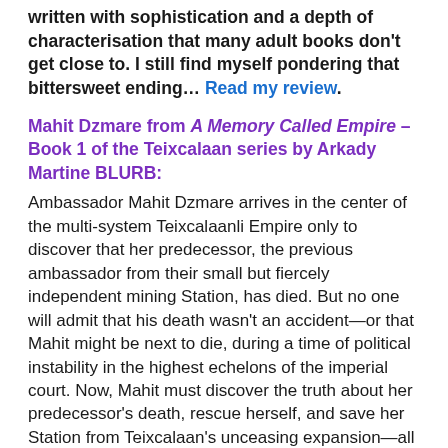written with sophistication and a depth of characterisation that many adult books don't get close to. I still find myself pondering that bittersweet ending… Read my review.
Mahit Dzmare from A Memory Called Empire – Book 1 of the Teixcalaan series by Arkady Martine BLURB:
Ambassador Mahit Dzmare arrives in the center of the multi-system Teixcalaanli Empire only to discover that her predecessor, the previous ambassador from their small but fiercely independent mining Station, has died. But no one will admit that his death wasn't an accident—or that Mahit might be next to die, during a time of political instability in the highest echelons of the imperial court. Now, Mahit must discover the truth about her predecessor's death, rescue herself, and save her Station from Teixcalaan's unceasing expansion—all while navigating an alien culture that is all too seductive